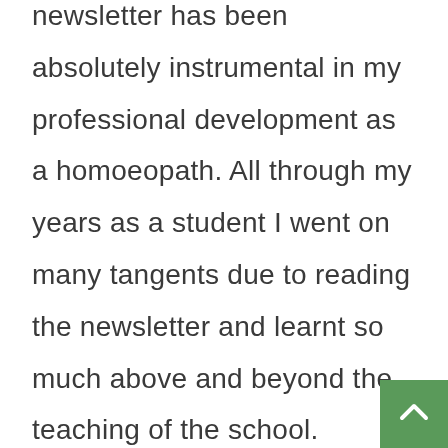newsletter has been absolutely instrumental in my professional development as a homoeopath. All through my years as a student I went on many tangents due to reading the newsletter and learnt so much above and beyond the teaching of the school.

If I hadn't read it, I would not have heard about Grant Bentley's HFA course which I attended in my own home country of Australia! You are providing a great serv...